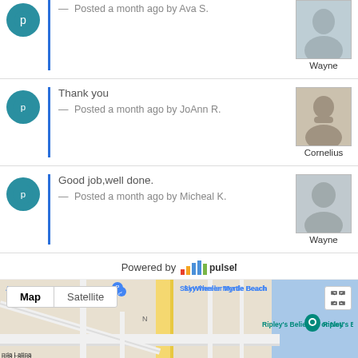— Posted a month ago by Ava S. | Wayne
Thank you
— Posted a month ago by JoAnn R. | Cornelius
Good job,well done.
— Posted a month ago by Micheal K. | Wayne
[Figure (screenshot): Google Maps screenshot showing Myrtle Beach area with Map/Satellite toggle, AutoZone Auto Parts, Ripley's Believe It or Not!, Seafood World, Calabash Seafood And... location markers, and a Chat with Us button. Powered by pulseM banner above.]